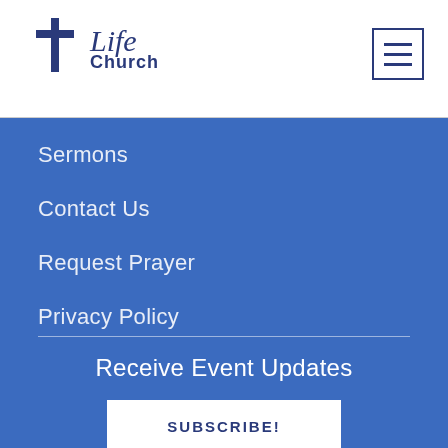[Figure (logo): Life Church logo with cross and stylized text]
Sermons
Contact Us
Request Prayer
Privacy Policy
Receive Event Updates
SUBSCRIBE!